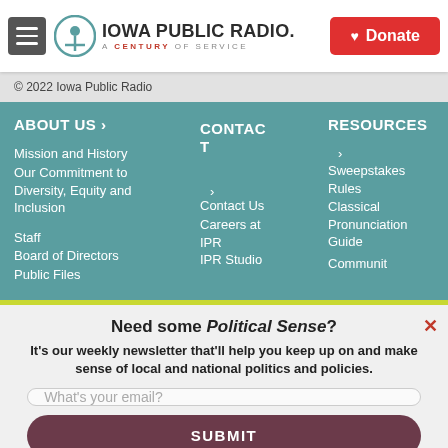Iowa Public Radio. A Century of Service. Donate.
© 2022 Iowa Public Radio
ABOUT US >
Mission and History
Our Commitment to Diversity, Equity and Inclusion
Staff
Board of Directors
Public Files
CONTACT
Contact Us
Careers at IPR
IPR Studio
RESOURCES
Sweepstakes Rules
Classical Pronunciation Guide
Community
Need some Political Sense? It's our weekly newsletter that'll help you keep up on and make sense of local and national politics and policies.
What's your email?
SUBMIT